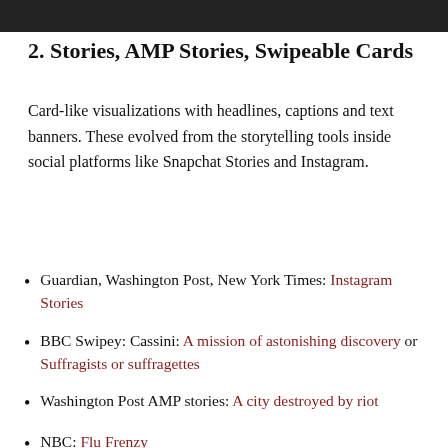[Figure (photo): Dark photographic strip at top of page]
2. Stories, AMP Stories, Swipeable Cards
Card-like visualizations with headlines, captions and text banners. These evolved from the storytelling tools inside social platforms like Snapchat Stories and Instagram.
Guardian, Washington Post, New York Times: Instagram Stories
BBC Swipey: Cassini: A mission of astonishing discovery or Suffragists or suffragettes
Washington Post AMP stories: A city destroyed by riot
NBC: Flu Frenzy